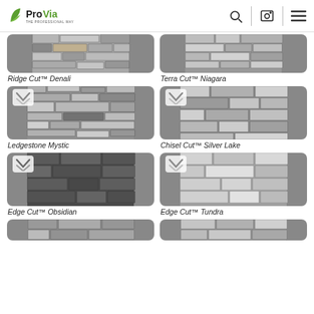ProVia - The Professional Way
[Figure (photo): Ridge Cut™ Denali stone veneer texture - grey stacked stone]
Ridge Cut™ Denali
[Figure (photo): Terra Cut™ Niagara stone veneer texture - grey/taupe stacked stone]
Terra Cut™ Niagara
[Figure (photo): Ledgestone Mystic stone veneer texture - irregular stacked grey stone]
Ledgestone Mystic
[Figure (photo): Chisel Cut™ Silver Lake stone veneer texture - rectangular grey stone blocks]
Chisel Cut™ Silver Lake
[Figure (photo): Edge Cut™ Obsidian stone veneer texture - dark grey/black brick pattern]
Edge Cut™ Obsidian
[Figure (photo): Edge Cut™ Tundra stone veneer texture - light grey brick pattern]
Edge Cut™ Tundra